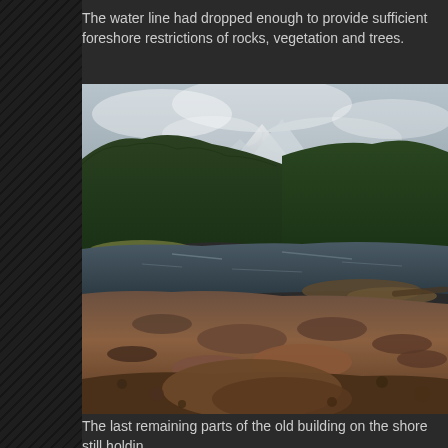The water line had dropped enough to provide sufficient foreshore restrictions of rocks, vegetation and trees.
[Figure (photo): A reservoir or lake with a dramatically lowered water line exposing rocky, muddy shoreline in the foreground. Dense coniferous forest covers the surrounding hills, with snow-dusted mountains visible in the misty background. The calm water reflects the overcast sky.]
The last remaining parts of the old building on the shore still holdin